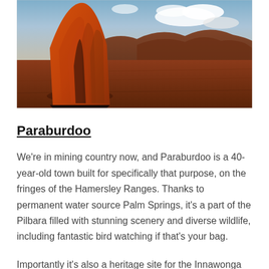[Figure (photo): Large orange sculptural disc/fan artwork installed in a red outback landscape with rocky hills and cloudy blue sky in the background — Pilbara region, Western Australia]
Paraburdoo
We're in mining country now, and Paraburdoo is a 40-year-old town built for specifically that purpose, on the fringes of the Hamersley Ranges. Thanks to permanent water source Palm Springs, it's a part of the Pilbara filled with stunning scenery and diverse wildlife, including fantastic bird watching if that's your bag.
Importantly it's also a heritage site for the Innawonga People, and if you're making your way by plane to